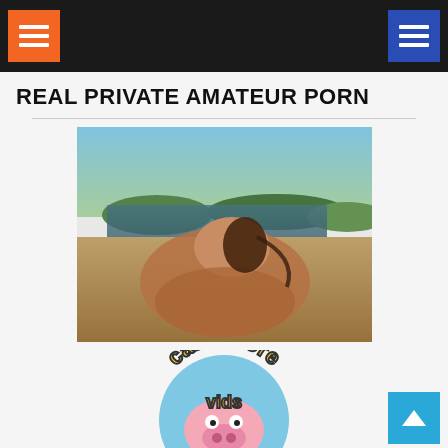Navigation bar with orange menu button (left) and blue menu button (right)
REAL PRIVATE AMATEUR PORN
[Figure (photo): Outdoor adult content photo with natural background including water and arid landscape]
[Figure (logo): Cam Whore Vids logo — animated cartoon style with yellow and blue text on a circular badge]